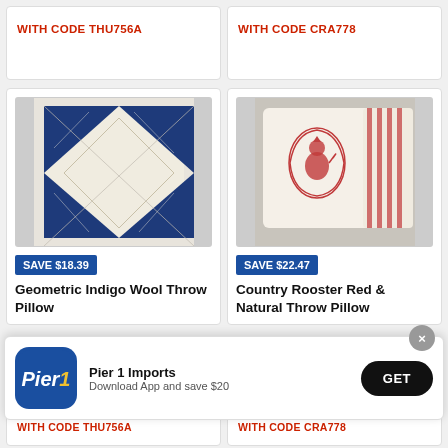WITH CODE THU756A
WITH CODE CRA778
[Figure (photo): Geometric Indigo Wool Throw Pillow with blue and cream diamond/geometric pattern on white background]
SAVE $18.39
Geometric Indigo Wool Throw Pillow
[Figure (photo): Country Rooster Red & Natural Throw Pillow with red rooster embroidery on cream fabric, shown on a chair with red striped pillow behind]
SAVE $22.47
Country Rooster Red & Natural Throw Pillow
[Figure (logo): Pier 1 Imports app download banner with blue rounded-square logo, text 'Pier 1 Imports / Download App and save $20', and black GET button]
WITH CODE THU756A
WITH CODE CRA778